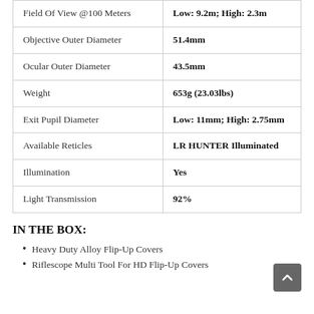| Feature | Value |
| --- | --- |
| Field Of View @100 Meters | Low: 9.2m; High: 2.3m |
| Objective Outer Diameter | 51.4mm |
| Ocular Outer Diameter | 43.5mm |
| Weight | 653g (23.03lbs) |
| Exit Pupil Diameter | Low: 11mm; High: 2.75mm |
| Available Reticles | LR HUNTER Illuminated |
| Illumination | Yes |
| Light Transmission | 92% |
IN THE BOX:
Heavy Duty Alloy Flip-Up Covers
Riflescope Multi Tool For HD Flip-Up Covers